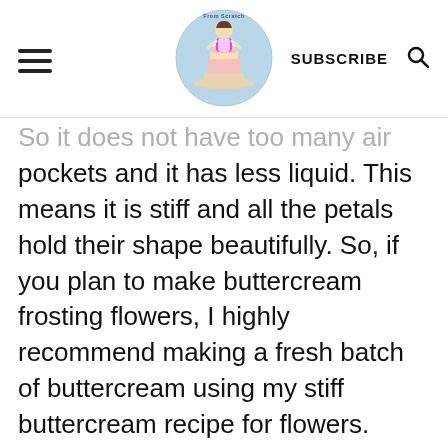[Logo: From Scratch] SUBSCRIBE [Search icon]
So it does not have too many air pockets and it has less liquid. This means it is stiff and all the petals hold their shape beautifully. So, if you plan to make buttercream frosting flowers, I highly recommend making a fresh batch of buttercream using my stiff buttercream recipe for flowers.